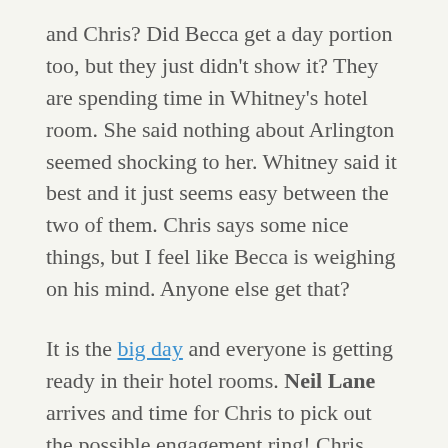and Chris? Did Becca get a day portion too, but they just didn't show it? They are spending time in Whitney's hotel room. She said nothing about Arlington seemed shocking to her. Whitney said it best and it just seems easy between the two of them. Chris says some nice things, but I feel like Becca is weighing on his mind. Anyone else get that?
It is the big day and everyone is getting ready in their hotel rooms. Neil Lane arrives and time for Chris to pick out the possible engagement ring! Chris heads to the farm and it looks like the final moments will be in a barn! They did it up nice and he said there is an option that he won't propose to anyone today because he is so torn, but the limos are on their way!
The first limo has arrived and it is Becca! He said that he could see her as his wife and he saw what was between